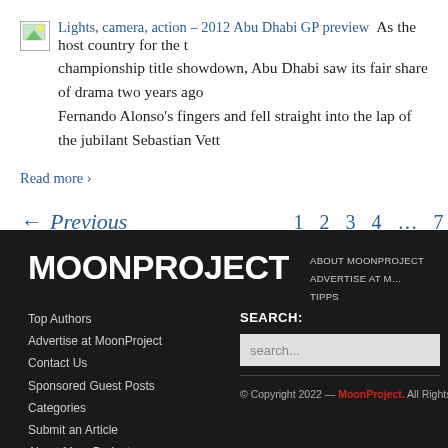[Figure (other): Small thumbnail image placeholder for article]
Lights, camera, action – 2012 Abu Dhabi GP preview  As the host country for the championship title showdown, Abu Dhabi saw its fair share of drama two years ago Fernando Alonso's fingers and fell straight into the lap of the jubilant Sebastian Vett…
Read more ›
← Previous   1  2  3  4  ...  7
MOONPROJECT
ABOUT MOONPROJECT   ADVERTISE AT M…   TIPPS
Top Authors
Advertise at MoonProject
Contact Us
Sponsored Guest Posts
Categories
Submit an Article
About MoonProject
Terms and Conditions
SEARCH:
search...
© Copyright 2022 — MoonProject. All Rights R…